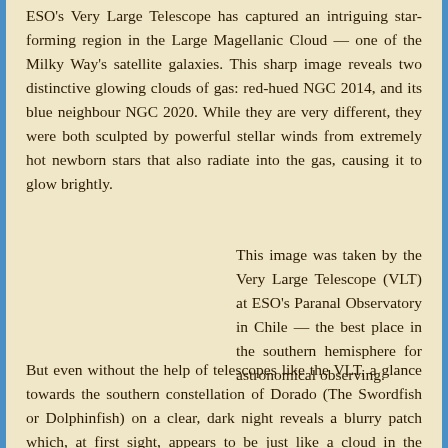ESO's Very Large Telescope has captured an intriguing star-forming region in the Large Magellanic Cloud — one of the Milky Way's satellite galaxies. This sharp image reveals two distinctive glowing clouds of gas: red-hued NGC 2014, and its blue neighbour NGC 2020. While they are very different, they were both sculpted by powerful stellar winds from extremely hot newborn stars that also radiate into the gas, causing it to glow brightly.
This image was taken by the Very Large Telescope (VLT) at ESO's Paranal Observatory in Chile — the best place in the southern hemisphere for astronomical observing.
But even without the help of telescopes like the VLT, a glance towards the southern constellation of Dorado (The Swordfish or Dolphinfish) on a clear, dark night reveals a blurry patch which, at first sight, appears to be just like a cloud in the Earth's atmosphere.